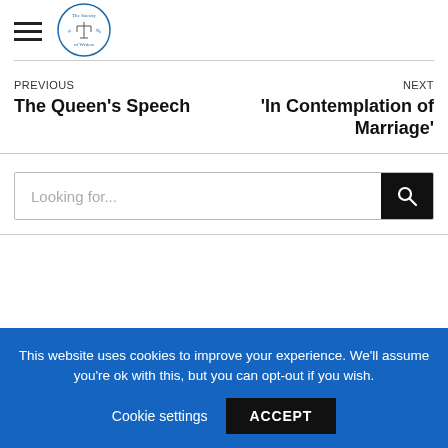The Society of Writers — navigation header with hamburger menu and logo
PREVIOUS
The Queen's Speech
NEXT
'In Contemplation of Marriage'
Looking for...
This website uses cookies to improve your experience. We'll assume you're ok with this, but you can opt-out if you wish. Cookie settings  ACCEPT